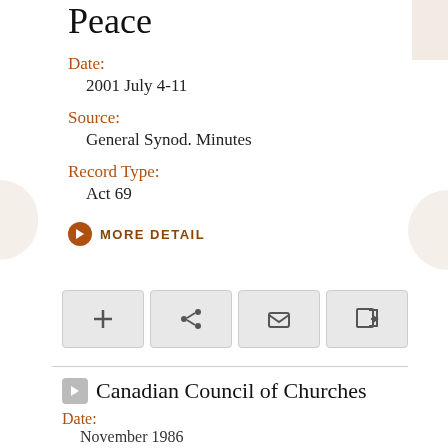Peace
Date:
2001 July 4-11
Source:
General Synod. Minutes
Record Type:
Act 69
MORE DETAIL
Canadian Council of Churches
Date:
November 1986